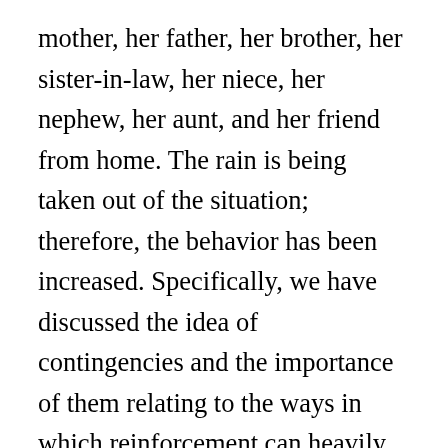mother, her father, her brother, her sister-in-law, her niece, her nephew, her aunt, and her friend from home. The rain is being taken out of the situation; therefore, the behavior has been increased. Specifically, we have discussed the idea of contingencies and the importance of them relating to the ways in which reinforcement can heavily influence the foods we like and dislike. An example of negative punishment would be if a toddler/child were playing with their food, instead of eating, they would in return not get dessert for that behavior. In a typical behavioral contingency statement, the consequence of an act, if it occurs, can be another behavioral event.